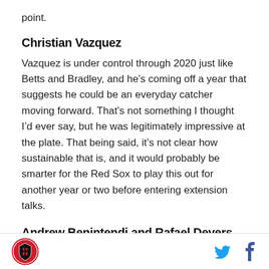point.
Christian Vazquez
Vazquez is under control through 2020 just like Betts and Bradley, and he’s coming off a year that suggests he could be an everyday catcher moving forward. That’s not something I thought I’d ever say, but he was legitimately impressive at the plate. That being said, it’s not clear how sustainable that is, and it would probably be smarter for the Red Sox to play this out for another year or two before entering extension talks.
Andrew Benintendi and Rafael Devers
These two rookies are arguably the second and third